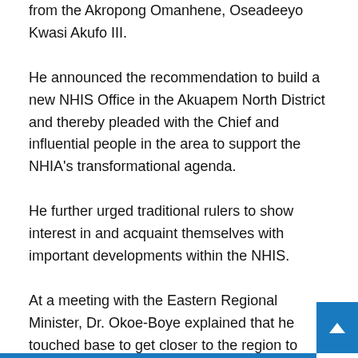from the Akropong Omanhene, Oseadeeyo Kwasi Akufo III.
He announced the recommendation to build a new NHIS Office in the Akuapem North District and thereby pleaded with the Chief and influential people in the area to support the NHIA's transformational agenda.
He further urged traditional rulers to show interest in and acquaint themselves with important developments within the NHIS.
At a meeting with the Eastern Regional Minister, Dr. Okoe-Boye explained that he touched base to get closer to the region to interface with all stakeholders.
“We are trying to build very good relationships with various stakeholders to make the NHIS more visible. We are on this drive to push hard the five ‘D’s, comprising Digitization,